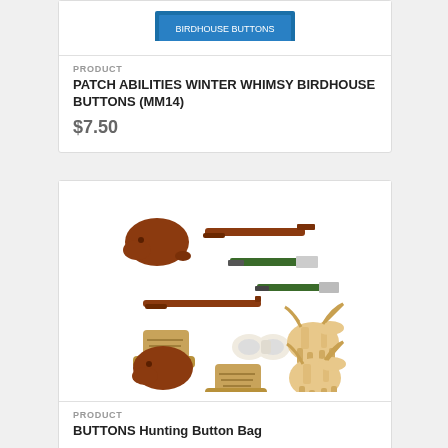[Figure (photo): Partial product image of patch abilities winter whimsy birdhouse buttons, cropped at top]
PRODUCT
PATCH ABILITIES WINTER WHIMSY BIRDHOUSE BUTTONS (MM14)
$7.50
[Figure (photo): Hunting-themed novelty buttons showing a beaver, rifles, knives, hunting boots, binoculars, and moose figures in brown and tan colors]
PRODUCT
BUTTONS Hunting Button Bag